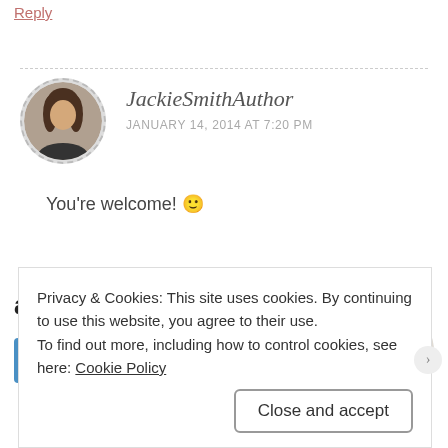Reply
JackieSmithAuthor
JANUARY 14, 2014 AT 7:20 PM
You're welcome! 🙂
and a better world.
[Figure (other): Apply button with photo of man]
Privacy & Cookies: This site uses cookies. By continuing to use this website, you agree to their use.
To find out more, including how to control cookies, see here: Cookie Policy
Close and accept